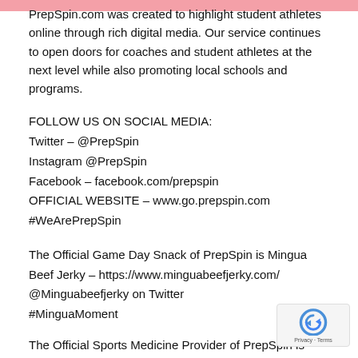PrepSpin.com was created to highlight student athletes online through rich digital media. Our service continues to open doors for coaches and student athletes at the next level while also promoting local schools and programs.
FOLLOW US ON SOCIAL MEDIA:
Twitter – @PrepSpin
Instagram @PrepSpin
Facebook – facebook.com/prepspin
OFFICIAL WEBSITE – www.go.prepspin.com
#WeArePrepSpin
The Official Game Day Snack of PrepSpin is Mingua Beef Jerky – https://www.minguabeefjerky.com/
@Minguabeefjerky on Twitter
#MinguaMoment
The Official Sports Medicine Provider of PrepSpin is Bluegrass Orthopaedics – https://bluegrassortho.com/